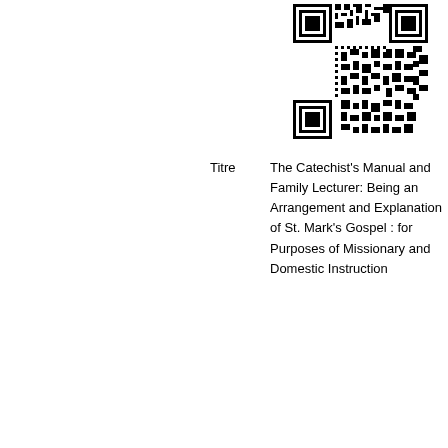[Figure (other): QR code in upper right area of the page]
Titre	The Catechist's Manual and Family Lecturer: Being an Arrangement and Explanation of St. Mark's Gospel : for Purposes of Missionary and Domestic Instruction